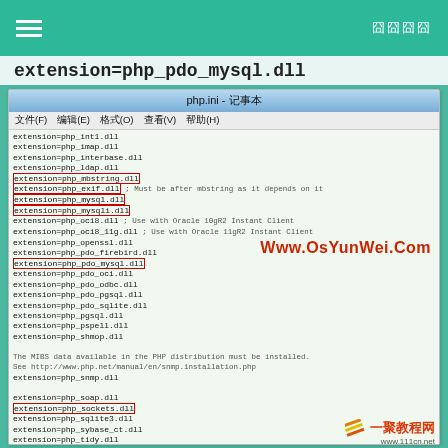≡  囧囧囧囧
extension=php_pdo_mysql.dll
[Figure (screenshot): A Windows Notepad window titled 'php.ini - 记事本' showing PHP extension configuration lines. Several lines are highlighted with red rectangles: extension=php_mbstring.dll, extension=php_exif.dll, extension=php_mysql.dll, extension=php_mysqli.dll, extension=php_pdo_mysql.dll, extension=php_sockets.dll, extension=php_xsl.dll. A red watermark text 'Www.OsYunWei.Com' and a logo '一聚教程网 www.111cn.net' appear overlaid on the screenshot.]